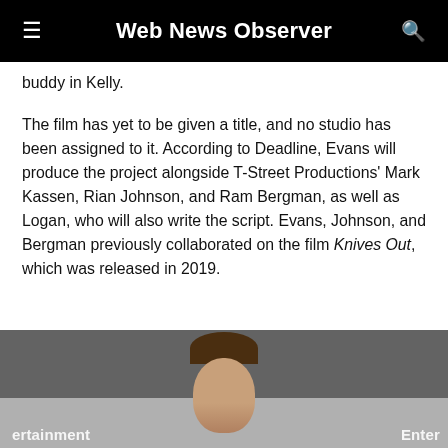Web News Observer
buddy in Kelly.
The film has yet to be given a title, and no studio has been assigned to it. According to Deadline, Evans will produce the project alongside T-Street Productions' Mark Kassen, Rian Johnson, and Ram Bergman, as well as Logan, who will also write the script. Evans, Johnson, and Bergman previously collaborated on the film Knives Out, which was released in 2019.
[Figure (photo): Partially visible photo of a person at an Entertainment Weekly event, cropped at the bottom of the page.]